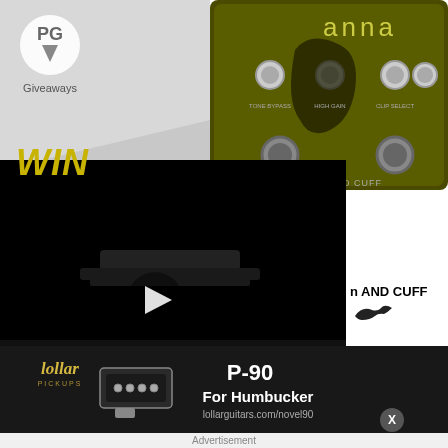[Figure (screenshot): PG Giveaways logo area with white/grey gradient background showing 'PG Giveaways' branding with arrow logo]
[Figure (photo): Wren and Cuff 'anna' pedal guitar effect unit on olive/dark yellow background with knobs and controls]
WIN
[Figure (screenshot): Video player with play button on dark/black background showing guitar pedal product]
n AND CUFF
away from Wren &
, and Pigtronix!
Orangewood Guitars Oliver Acoustic Giveaway!
Lore Reverse Soundscape Generator from Walrus Audio
Win ...
[Figure (advertisement): Lollar Pickups advertisement for P-90 For Humbucker pickup, showing pickup image, Lollar logo, and lollarguitars.com/novel90 URL]
Advertisement